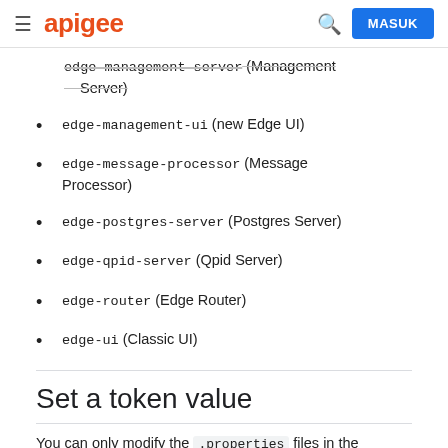apigee   MASUK
edge-management-server (Management Server) [partial, strikethrough]
edge-management-ui (new Edge UI)
edge-message-processor (Message Processor)
edge-postgres-server (Postgres Server)
edge-qpid-server (Qpid Server)
edge-router (Edge Router)
edge-ui (Classic UI)
Set a token value
You can only modify the .properties files in the /opt/apigee/customer/application directory. Each